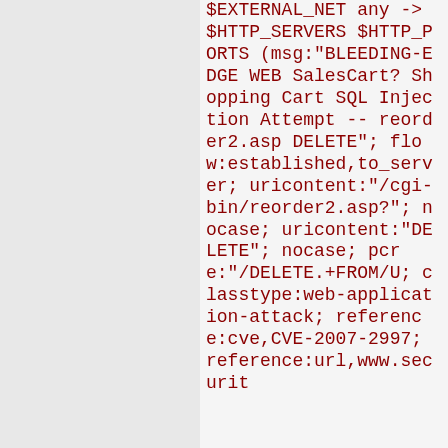$EXTERNAL_NET any -> $HTTP_SERVERS $HTTP_PORTS (msg:"BLEEDING-EDGE WEB SalesCart? Shopping Cart SQL Injection Attempt -- reorder2.asp DELETE"; flow:established,to_server; uricontent:"/cgi-bin/reorder2.asp?"; nocase; uricontent:"DELETE"; nocase; pcre:"/DELETE.+FROM/U; classtype:web-application-attack; reference:cve,CVE-2007-2997; reference:url,www.securit